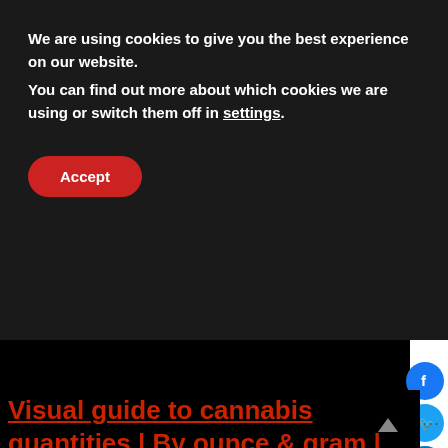We are using cookies to give you the best experience on our website.
You can find out more about which cookies we are using or switch them off in settings.
Accept
[Figure (photo): Dark/black image area below cookie banner, part of a webpage article with social sharing buttons on the right side]
Visual guide to cannabis quantities | By ounce & gram |